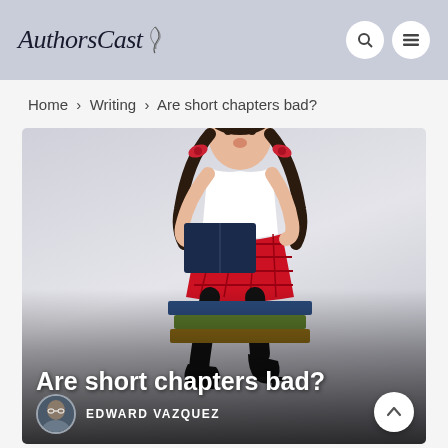AuthorsCast
Home › Writing › Are short chapters bad?
[Figure (photo): A young woman dressed in a school uniform (white blouse, red plaid skirt) with pigtails and red bows, sitting on a stack of books while holding an open book with a surprised expression. Background is light gray. Overlaid text reads 'Are short chapters bad?' with author credit 'EDWARD VAZQUEZ' and a circular avatar photo.]